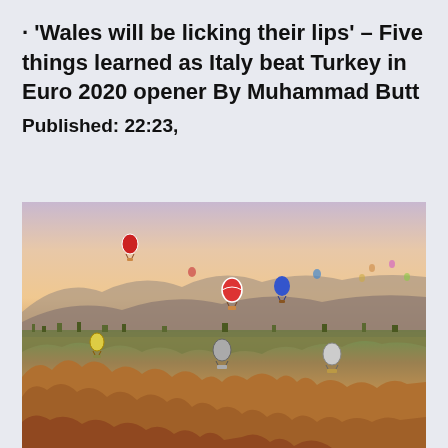· 'Wales will be licking their lips' – Five things learned as Italy beat Turkey in Euro 2020 opener By Muhammad Butt Published: 22:23,
[Figure (photo): Aerial landscape photograph of Cappadocia, Turkey, showing hot air balloons floating above the distinctive rocky terrain and valleys at sunset/dusk with a warm orange-pink sky.]